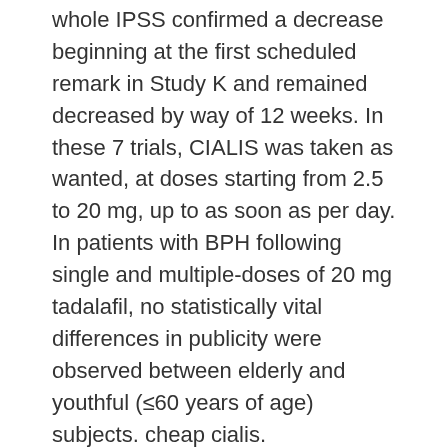whole IPSS confirmed a decrease beginning at the first scheduled remark in Study K and remained decreased by way of 12 weeks. In these 7 trials, CIALIS was taken as wanted, at doses starting from 2.5 to 20 mg, up to as soon as per day. In patients with BPH following single and multiple-doses of 20 mg tadalafil, no statistically vital differences in publicity were observed between elderly and youthful (≤60 years of age) subjects. cheap cialis.
Sildenafil 20mg Stop taking Viagra® and call your healthcare supplier instantly generic cialis in case you have sudden vision loss in a single or each eyes. 20 mg sildenafil is a prescription medicine used in adults to treat pulmonary arterial hypertension . It improves the flexibility to exercise and may slow down worsening modifications in your physical situation. Currently, the